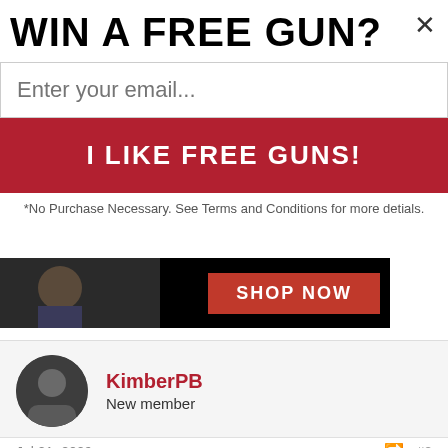WIN A FREE GUN?
Enter your email...
I LIKE FREE GUNS!
*No Purchase Necessary. See Terms and Conditions for more detials.
[Figure (screenshot): Advertisement banner with dark background showing a person silhouette and a red SHOP NOW button]
KimberPB
New member
Jul 21, 2009
#2
First off, sorry to hear about your father Sambo42xa! My grandfather, KimberRB's dad, pasted a few months back also. He also had a few guns he left to my dad. My dad, in turn, gave each of us grand kids one. I received his Savage 30-30. It meant a lot to have one of my grandpa's old rifles and I hope to